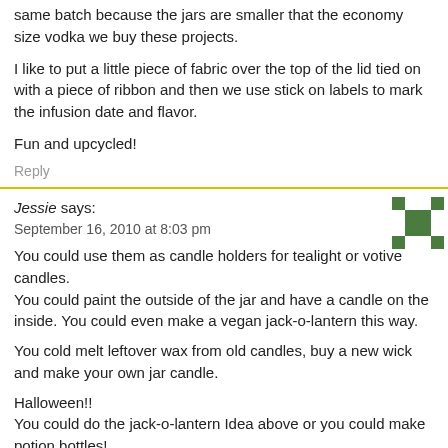same batch because the jars are smaller that the economy size vodka we buy these projects.
I like to put a little piece of fabric over the top of the lid tied on with a piece of ribbon and then we use stick on labels to mark the infusion date and flavor.
Fun and upcycled!
Reply
Jessie says: September 16, 2010 at 8:03 pm
You could use them as candle holders for tealight or votive candles. You could paint the outside of the jar and have a candle on the inside. You could even make a vegan jack-o-lantern this way.
You cold melt leftover wax from old candles, buy a new wick and make your own jar candle.
Halloween!! You could do the jack-o-lantern Idea above or you could make potion bottles! Label them (choose a spooky font) with weird names like "bat wings" "fairy win... "babies tears" and fill them with odds and ends from around the house (broken jewelry, beads, sand, dirt, rocks, glitter, broken cds, crinkled up vhs tape)